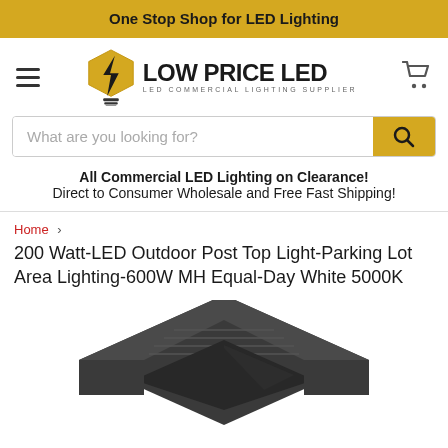One Stop Shop for LED Lighting
[Figure (logo): Low Price LED logo with hexagon lightning bolt bulb icon and text 'LOW PRICE LED / LED COMMERCIAL LIGHTING SUPPLIER']
What are you looking for?
All Commercial LED Lighting on Clearance! Direct to Consumer Wholesale and Free Fast Shipping!
Home › 200 Watt-LED Outdoor Post Top Light-Parking Lot Area Lighting-600W MH Equal-Day White 5000K
200 Watt-LED Outdoor Post Top Light-Parking Lot Area Lighting-600W MH Equal-Day White 5000K
[Figure (photo): Top-down view of a dark charcoal/black LED outdoor post top area light fixture showing the angular housing and lens]